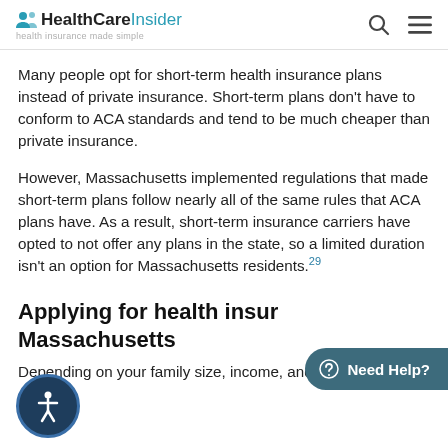HealthCareInsider — health insurance made simple
Many people opt for short-term health insurance plans instead of private insurance. Short-term plans don't have to conform to ACA standards and tend to be much cheaper than private insurance.
However, Massachusetts implemented regulations that made short-term plans follow nearly all of the same rules that ACA plans have. As a result, short-term insurance carriers have opted to not offer any plans in the state, so a limited duration isn't an option for Massachusetts residents.[29]
Applying for health insurance in Massachusetts
Depending on your family size, income, and age,